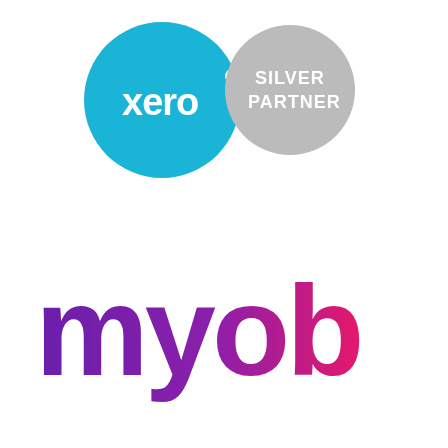[Figure (logo): Xero Silver Partner badge: two overlapping circles — left circle is sky blue with 'xero' in white lowercase with a dot, right circle is light grey with 'SILVER PARTNER' in white uppercase bold text]
[Figure (logo): MYOB logo in large rounded lowercase letters with gradient from purple on the left to hot pink on the right]